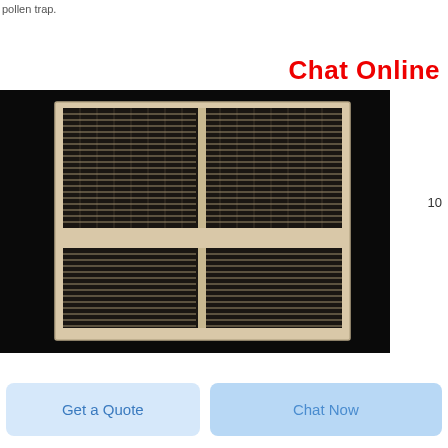pollen trap.
Chat Online
10
[Figure (photo): Close-up photograph of a wooden pollen trap with metal wire mesh grids on a black background. The trap has two sections, each with multiple parallel horizontal wire slots arranged in a grid pattern within a white/light-colored wooden frame.]
Get a Quote
Chat Now